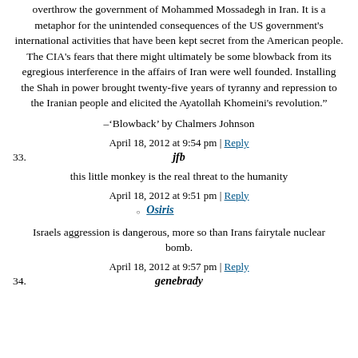overthrow the government of Mohammed Mossadegh in Iran. It is a metaphor for the unintended consequences of the US government's international activities that have been kept secret from the American people. The CIA's fears that there might ultimately be some blowback from its egregious interference in the affairs of Iran were well founded. Installing the Shah in power brought twenty-five years of tyranny and repression to the Iranian people and elicited the Ayatollah Khomeini's revolution.”
–‘Blowback’ by Chalmers Johnson
April 18, 2012 at 9:54 pm | Reply
33. jfb
this little monkey is the real threat to the humanity
April 18, 2012 at 9:51 pm | Reply
Osiris
Israels aggression is dangerous, more so than Irans fairytale nuclear bomb.
April 18, 2012 at 9:57 pm | Reply
34. genebrady